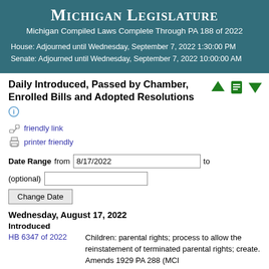Michigan Legislature
Michigan Compiled Laws Complete Through PA 188 of 2022
House: Adjourned until Wednesday, September 7, 2022 1:30:00 PM
Senate: Adjourned until Wednesday, September 7, 2022 10:00:00 AM
Daily Introduced, Passed by Chamber, Enrolled Bills and Adopted Resolutions
friendly link
printer friendly
Date Range from 8/17/2022 to (optional)
Change Date
Wednesday, August 17, 2022
Introduced
HB 6347 of 2022	Children: parental rights; process to allow the reinstatement of terminated parental rights; create. Amends 1929 PA 288 (MCL